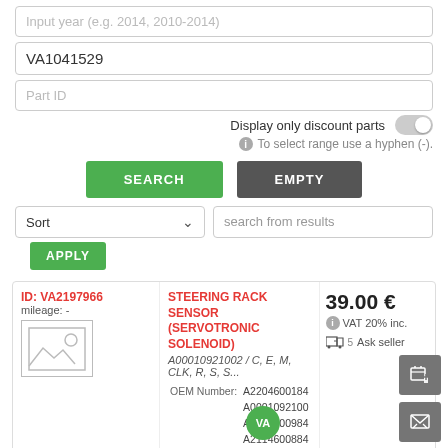Input year (e.g. 2014, 2010-2014)
VA1041529
Part ID
Display only discount parts
To select range use a hyphen (-).
SEARCH
EMPTY
Sort
search from results
APPLY
ID: VA2197966
mileage: -
STEERING RACK SENSOR (SERVOTRONIC SOLENOID)
A00010921002 / C, E, M, CLK, R, S, S...
OEM Number: A2204600184
A0001092100
A2114600984
A2114600884
2204600184
Manuf. No: A2114600984
39.00 €
VAT 20% inc.
Ask seller